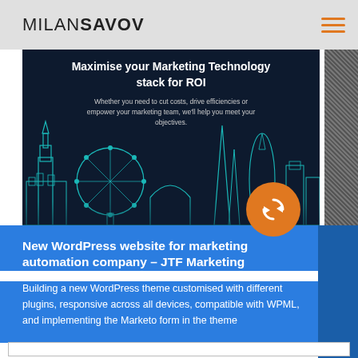MILAN SAVOV
[Figure (screenshot): Website screenshot showing dark hero banner with London skyline illustration and text 'Maximise your Marketing Technology stack for ROI' with subtext 'Whether you need to cut costs, drive efficiencies or empower your marketing team, we'll help you meet your objectives.' Orange circular arrow/refresh icon overlaid on bottom right of banner.]
New WordPress website for marketing automation company – JTF Marketing
Building a new WordPress theme customised with different plugins, responsive across all devices, compatible with WPML, and implementing the Marketo form in the theme